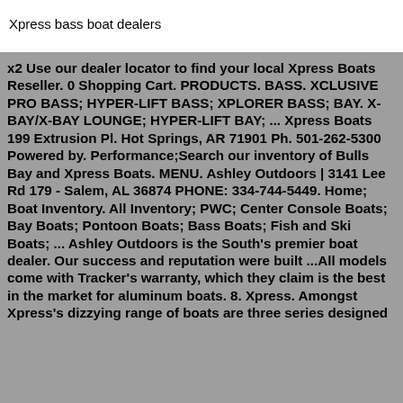Xpress bass boat dealers
x2 Use our dealer locator to find your local Xpress Boats Reseller. 0 Shopping Cart. PRODUCTS. BASS. XCLUSIVE PRO BASS; HYPER-LIFT BASS; XPLORER BASS; BAY. X-BAY/X-BAY LOUNGE; HYPER-LIFT BAY; ... Xpress Boats 199 Extrusion Pl. Hot Springs, AR 71901 Ph. 501-262-5300 Powered by. Performance;Search our inventory of Bulls Bay and Xpress Boats. MENU. Ashley Outdoors | 3141 Lee Rd 179 - Salem, AL 36874 PHONE: 334-744-5449. Home; Boat Inventory. All Inventory; PWC; Center Console Boats; Bay Boats; Pontoon Boats; Bass Boats; Fish and Ski Boats; ... Ashley Outdoors is the South's premier boat dealer. Our success and reputation were built ...All models come with Tracker's warranty, which they claim is the best in the market for aluminum boats. 8. Xpress. Amongst Xpress's dizzying range of boats are three series designed